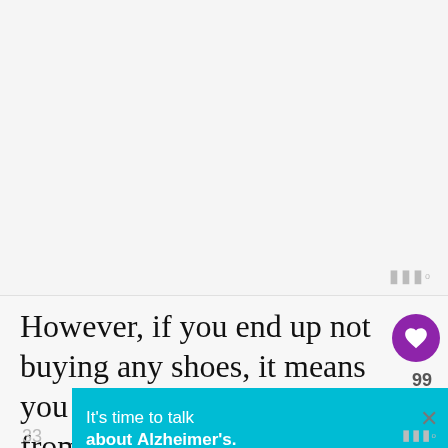[Figure (other): Blank/empty image area at top of page, light gray background]
However, if you end up not buying any shoes, it means you will cancel and back out from your travel plans.
[Figure (other): Advertisement banner: 'It's time to talk about Alzheimer's.' with LEARN MORE button and Alzheimer's Association logo]